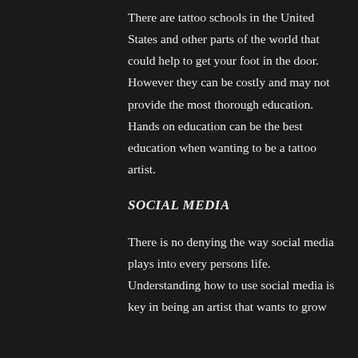There are tattoo schools in the United States and other parts of the world that could help to get your foot in the door. However they can be costly and may not provide the most thorough education. Hands on education can be the best education when wanting to be a tattoo artist.
SOCIAL MEDIA
There is no denying the way social media plays into every persons life. Understanding how to use social media is key in being an artist that wants to grow